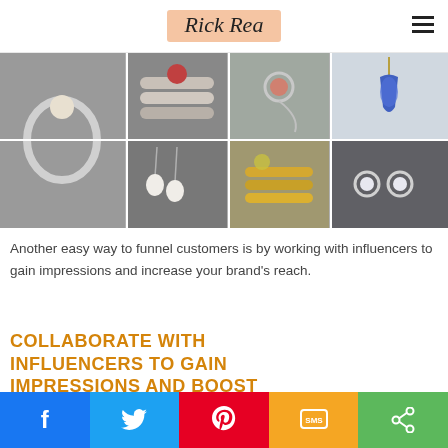Rick Rea
[Figure (photo): A collage of six jewelry photos arranged in a 2x3 grid: rings with gemstones, a pendant with blue sapphire, pearl drop earrings, gold stacked rings, and diamond stud earrings.]
Another easy way to funnel customers is by working with influencers to gain impressions and increase your brand’s reach.
COLLABORATE WITH INFLUENCERS TO GAIN IMPRESSIONS AND BOOST
Share buttons: Facebook, Twitter, Pinterest, SMS, Share